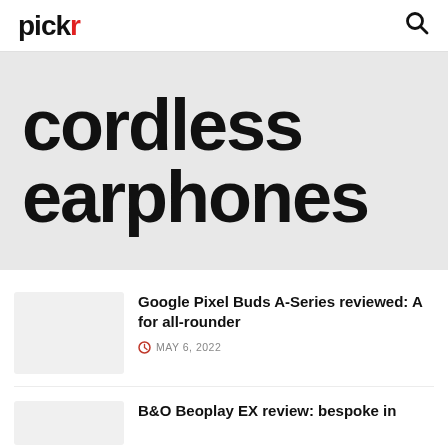pickr
cordless earphones
Google Pixel Buds A-Series reviewed: A for all-rounder
MAY 6, 2022